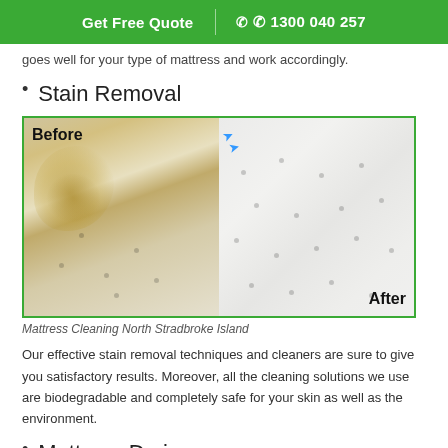Get Free Quote | ✆ 1300 040 257
goes well for your type of mattress and work accordingly.
Stain Removal
[Figure (photo): Before and after comparison photo of mattress cleaning. Left side labeled 'Before' shows yellow stains on a white mattress. Right side labeled 'After' shows a clean white mattress. Blue arrows visible near the divider.]
Mattress Cleaning North Stradbroke Island
Our effective stain removal techniques and cleaners are sure to give you satisfactory results. Moreover, all the cleaning solutions we use are biodegradable and completely safe for your skin as well as the environment.
Mattress Drying
Our advanced drying techniques will ensure your mattress dries